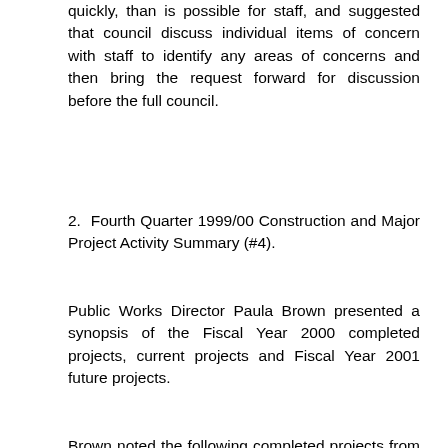quickly, than is possible for staff, and suggested that council discuss individual items of concern with staff to identify any areas of concerns and then bring the request forward for discussion before the full council.
2. Fourth Quarter 1999/00 Construction and Major Project Activity Summary (#4).
Public Works Director Paula Brown presented a synopsis of the Fiscal Year 2000 completed projects, current projects and Fiscal Year 2001 future projects.
Brown noted the following completed projects from Fiscal Year 2000: TRANSPORTATION: Oak Street traffic calming and the Oak/Hersey intersection; WATER: Fork Street distribution line, Wastewater Treatment Plant (WWTP) wetlands demonstration project, Ashland Creek pump station, Ashland Municipal Airport sanitary sewer and Ashland Creek